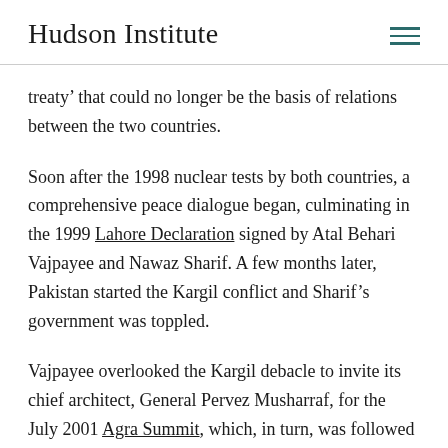Hudson Institute
treaty’ that could no longer be the basis of relations between the two countries.
Soon after the 1998 nuclear tests by both countries, a comprehensive peace dialogue began, culminating in the 1999 Lahore Declaration signed by Atal Behari Vajpayee and Nawaz Sharif. A few months later, Pakistan started the Kargil conflict and Sharif’s government was toppled.
Vajpayee overlooked the Kargil debacle to invite its chief architect, General Pervez Musharraf, for the July 2001 Agra Summit, which, in turn, was followed by